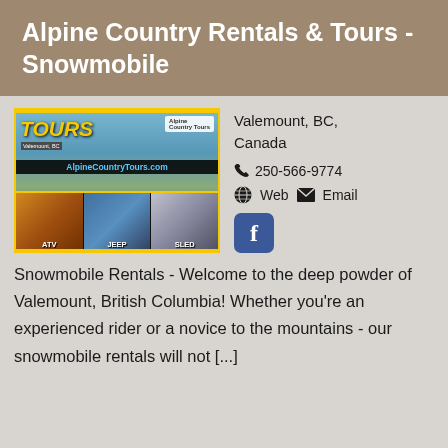Alpine Country Rentals & Tours - Snowmobile
[Figure (photo): Alpine Country Tours promotional image showing ATV, Jeep, and Sled activities in Valemount, BC with website AlpineCountryTours.com]
Valemount, BC, Canada
250-566-9774
Web  Email
Snowmobile Rentals - Welcome to the deep powder of Valemount, British Columbia! Whether you're an experienced rider or a novice to the mountains - our snowmobile rentals will not [...]